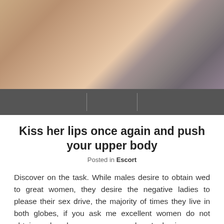[Figure (photo): Photo of women on a bed, one wearing black stockings, in a lifestyle/adult content blog context]
Kiss her lips once again and push your upper body
Posted in Escort
Discover on the task. While males desire to obtain wed to great women, they desire the negative ladies to please their sex drive, the majority of times they live in both globes, if you ask me excellent women do not obtain wed: so long as you are wed you’re having sex so appreciate it well, do all you can to find out all the techniques negative ladies make use of to hook your